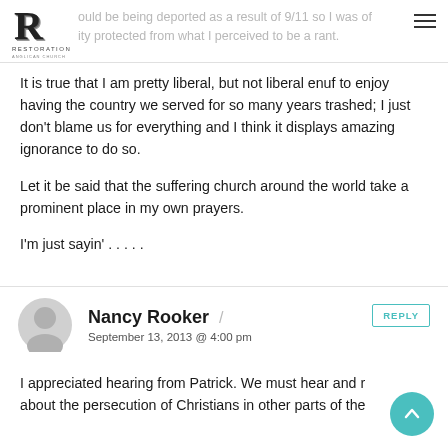Restoration Anglican Church — header with logo and navigation
ould be being deported as a result of 9/11 so I was of ity protected from what I perceived to be a rant.
It is true that I am pretty liberal, but not liberal enuf to enjoy having the country we served for so many years trashed; I just don't blame us for everything and I think it displays amazing ignorance to do so.

Let it be said that the suffering church around the world take a prominent place in my own prayers.

I'm just sayin' . . . . .
Nancy Rooker
September 13, 2013 @ 4:00 pm
I appreciated hearing from Patrick. We must hear and r about the persecution of Christians in other parts of the